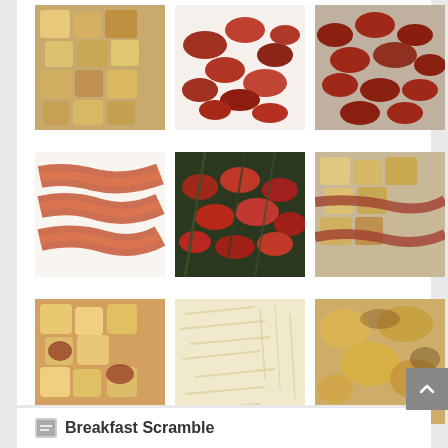[Figure (photo): 3x3 grid of food photos showing bread cubes, sundried tomatoes, bacon strips, mixed tomatoes with herbs, bread with bacon, bread cubes with sauce, grated cheese casserole, baked casserole]
More →
04/11  admin  Leave a comment
Breakfast Scramble